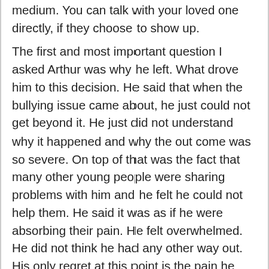medium. You can talk with your loved one directly, if they choose to show up.
The first and most important question I asked Arthur was why he left. What drove him to this decision. He said that when the bullying issue came about, he just could not get beyond it. He just did not understand why it happened and why the out come was so severe. On top of that was the fact that many other young people were sharing problems with him and he felt he could not help them. He said it was as if he were absorbing their pain. He felt overwhelmed. He did not think he had any other way out. His only regret at this point is the pain he has caused us.
He says he has been here with us and left signs that he is here. We have missed a lot of them. He specifically spoke of a few things I could definitely verify. Some personal messages for family were